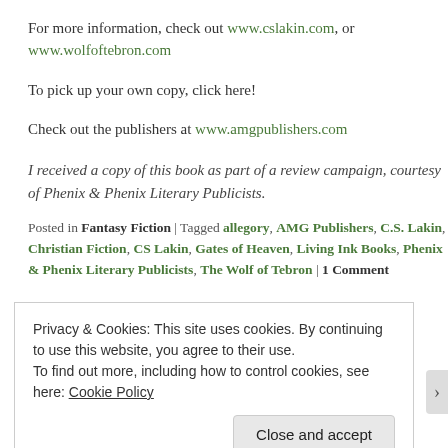For more information, check out www.cslakin.com, or www.wolfoftebron.com
To pick up your own copy, click here!
Check out the publishers at www.amgpublishers.com
I received a copy of this book as part of a review campaign, courtesy of Phenix & Phenix Literary Publicists.
Posted in Fantasy Fiction | Tagged allegory, AMG Publishers, C.S. Lakin, Christian Fiction, CS Lakin, Gates of Heaven, Living Ink Books, Phenix & Phenix Literary Publicists, The Wolf of Tebron | 1 Comment
Privacy & Cookies: This site uses cookies. By continuing to use this website, you agree to their use. To find out more, including how to control cookies, see here: Cookie Policy